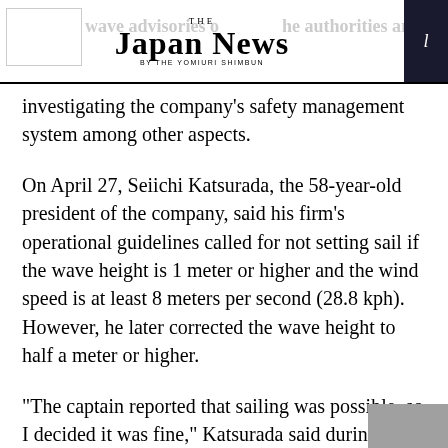THE JAPAN NEWS BY THE YOMIURI SHIMBUN
investigating the company's safety management system among other aspects.
On April 27, Seiichi Katsurada, the 58-year-old president of the company, said his firm's operational guidelines called for not setting sail if the wave height is 1 meter or higher and the wind speed is at least 8 meters per second (28.8 kph). However, he later corrected the wave height to half a meter or higher.
“The captain reported that sailing was possible, so I decided it was fine,” Katsurada said during the press conference.